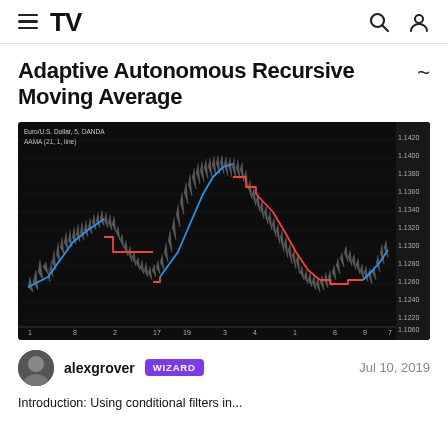TradingView navigation header with hamburger menu, logo, search and user icons
Adaptive Autonomous Recursive Moving Average
[Figure (continuous-plot): Dark-themed financial chart showing Euro/US Dollar 5-minute OANDA price data overlaid with the Adaptive Autonomous Recursive Moving Average (AAMA) indicator. The price candlestick chart (white/gray) is shown with a blue line representing the moving average in uptrend phases and a red line in downtrend phases. The chart spans multiple trading sessions from approximately 1 to 7 on the x-axis, with price ranging from about 1.1060 to 1.1420 on the y-axis.]
alexgrover  WIZARD    Jul 10, 2019
Introduction: Using conditional filters in...